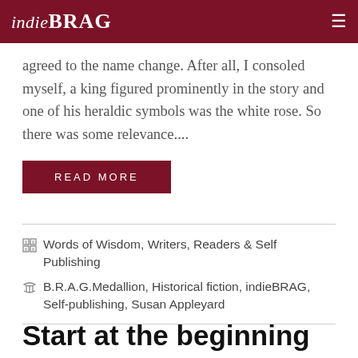indieBRAG
agreed to the name change. After all, I consoled myself, a king figured prominently in the story and one of his heraldic symbols was the white rose. So there was some relevance....
READ MORE
Words of Wisdom, Writers, Readers & Self Publishing
B.R.A.G.Medallion, Historical fiction, indieBRAG, Self-publishing, Susan Appleyard
Start at the beginning